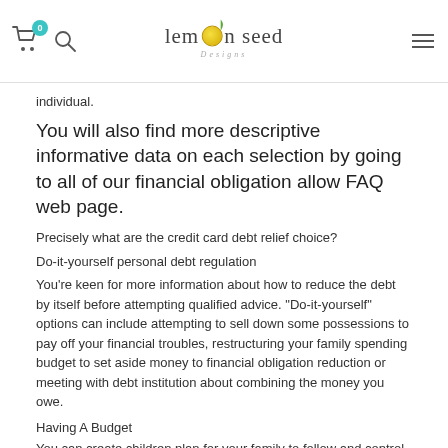Lemon Seed Designs
individual.
You will also find more descriptive informative data on each selection by going to all of our financial obligation allow FAQ web page.
Precisely what are the credit card debt relief choice?
Do-it-yourself personal debt regulation
You're keen for more information about how to reduce the debt by itself before attempting qualified advice. "Do-it-yourself" options can include attempting to sell down some possessions to pay off your financial troubles, restructuring your family spending budget to set aside money to financial obligation reduction or meeting with debt institution about combining the money you owe.
Having A Budget
You can create children plan for your family to follow and control month-to-month cost. A budget also will explain to you the amount of you might set aside to apply your bank account and to lower